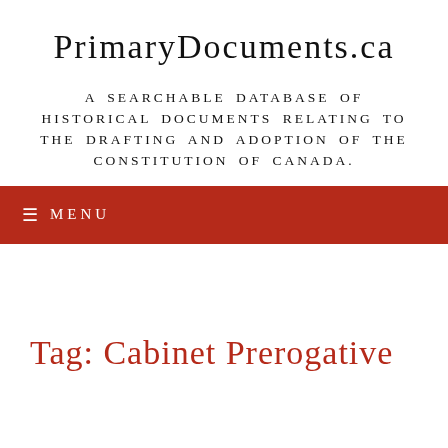PrimaryDocuments.ca
A SEARCHABLE DATABASE OF HISTORICAL DOCUMENTS RELATING TO THE DRAFTING AND ADOPTION OF THE CONSTITUTION OF CANADA.
≡ MENU
Tag: Cabinet Prerogative